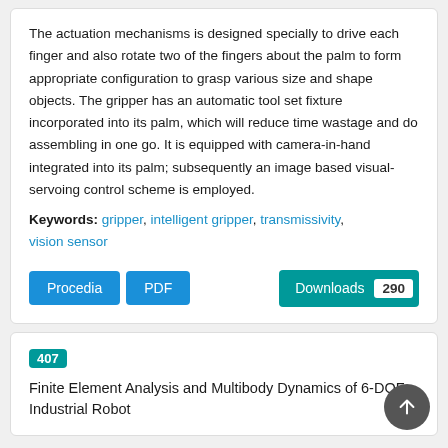The actuation mechanisms is designed specially to drive each finger and also rotate two of the fingers about the palm to form appropriate configuration to grasp various size and shape objects. The gripper has an automatic tool set fixture incorporated into its palm, which will reduce time wastage and do assembling in one go. It is equipped with camera-in-hand integrated into its palm; subsequently an image based visual-servoing control scheme is employed.
Keywords: gripper, intelligent gripper, transmissivity, vision sensor
Procedia  PDF  Downloads 290
407 Finite Element Analysis and Multibody Dynamics of 6-DOF Industrial Robot